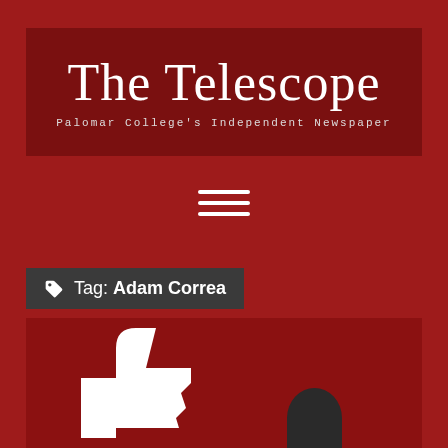The Telescope
Palomar College's Independent Newspaper
[Figure (illustration): Hamburger menu icon with three white horizontal lines on dark red background]
Tag: Adam Correa
[Figure (illustration): Article thumbnail showing a white thumbs-up icon and dark silhouette on a dark red background]